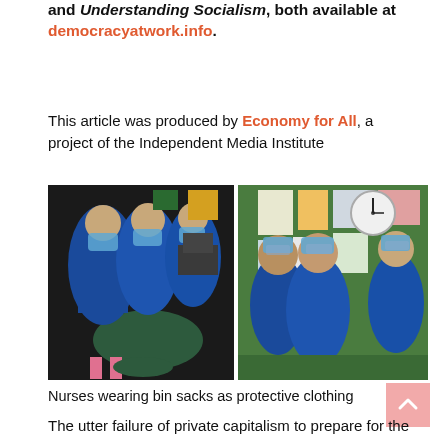and Understanding Socialism, both available at democracyatwork.info.
This article was produced by Economy for All, a project of the Independent Media Institute
[Figure (photo): Two side-by-side photographs of nurses wearing blue bin sacks as improvised protective clothing. Left photo shows three nurses seated/grouped in a clinical office setting. Right photo shows three nurses standing in front of a green wall with posters and a clock, all wearing blue plastic gowns and face masks.]
Nurses wearing bin sacks as protective clothing
The utter failure of private capitalism to prepare for the